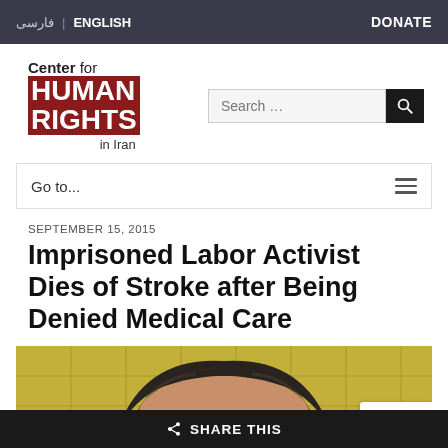فارسی | ENGLISH   DONATE
[Figure (logo): Center for HUMAN RIGHTS in Iran logo with red block lettering]
SEPTEMBER 15, 2015
Imprisoned Labor Activist Dies of Stroke after Being Denied Medical Care
[Figure (photo): Close-up photo of a man's face against a yellow tiled background]
SHARE THIS